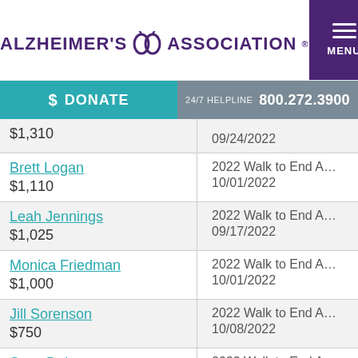ALZHEIMER'S ASSOCIATION MENU
$ DONATE | 24/7 HELPLINE 800.272.3900
| Donor / Amount | Event / Date |
| --- | --- |
| $1,310 | 09/24/2022 |
| Brett Logan
$1,110 | 2022 Walk to End A…
10/01/2022 |
| Leah Jennings
$1,025 | 2022 Walk to End A…
09/17/2022 |
| Monica Friedman
$1,000 | 2022 Walk to End A…
10/01/2022 |
| Jill Sorenson
$750 | 2022 Walk to End A…
10/08/2022 |
| Scott Doherty
$750 | 2022 Walk to End A…
10/01/2022 |